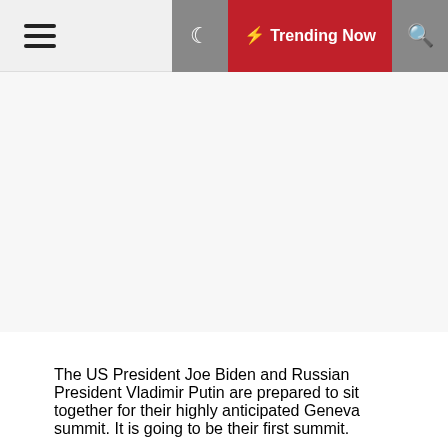Trending Now
[Figure (other): Advertisement or blank content area]
The US President Joe Biden and Russian President Vladimir Putin are prepared to sit together for their highly anticipated Geneva summit. It is going to be their first summit.